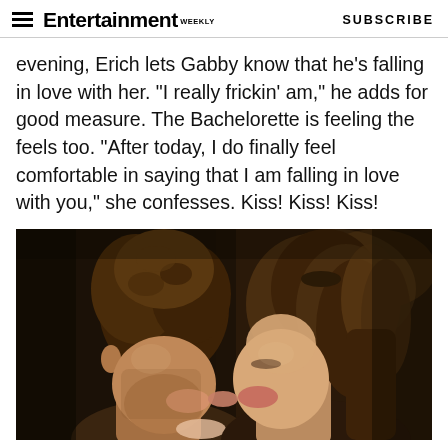Entertainment Weekly — SUBSCRIBE
evening, Erich lets Gabby know that he's falling in love with her. "I really frickin' am," he adds for good measure. The Bachelorette is feeling the feels too. "After today, I do finally feel comfortable in saying that I am falling in love with you," she confesses. Kiss! Kiss! Kiss!
[Figure (photo): A couple kissing in a dimly lit room, the man with curly brown hair and the woman with long brown hair pulled back.]